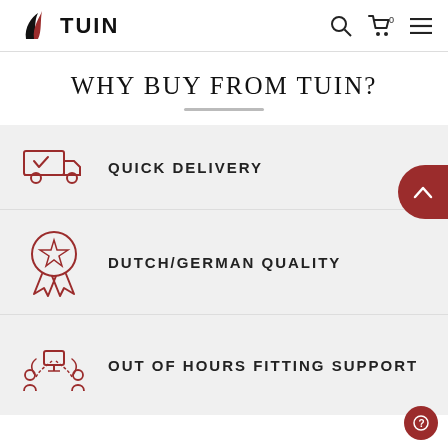TUIN
WHY BUY FROM TUIN?
QUICK DELIVERY
DUTCH/GERMAN QUALITY
OUT OF HOURS FITTING SUPPORT